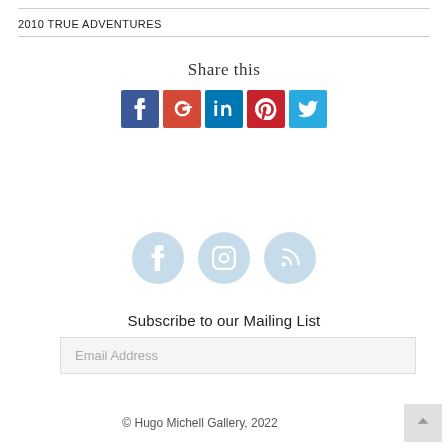2010 TRUE ADVENTURES
Share this
[Figure (infographic): Row of five social media share buttons: Facebook (blue), Google+ (red), LinkedIn (blue), Pinterest (red), Twitter (light blue)]
[Figure (infographic): Three light-blue circular social icons: Facebook, Instagram, RSS]
Subscribe to our Mailing List
Email Address
© Hugo Michell Gallery, 2022